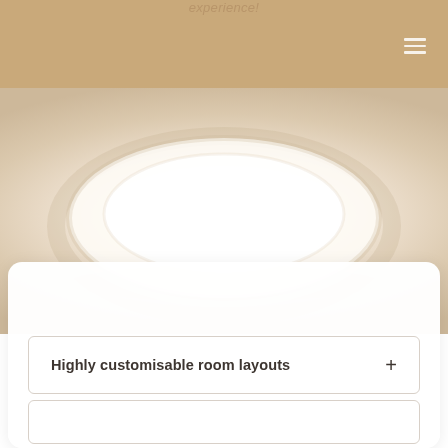experience!
[Figure (photo): A top-down view of a white ceramic plate on a warm beige/cream background, suggesting a food or hospitality context.]
Highly customisable room layouts